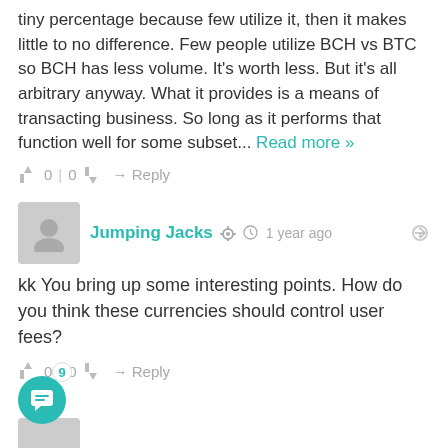tiny percentage because few utilize it, then it makes little to no difference. Few people utilize BCH vs BTC so BCH has less volume. It's worth less. But it's all arbitrary anyway. What it provides is a means of transacting business. So long as it performs that function well for some subset... Read more »
👍 0 | 0 👎 → Reply
Jumping Jacks 🔗 🕐 1 year ago
kk You bring up some interesting points. How do you think these currencies should control user fees?
👍 0 | 0 👎 → Reply